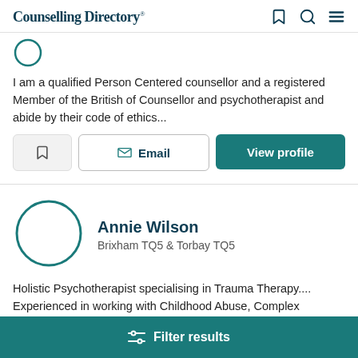Counselling Directory
I am a qualified Person Centered counsellor and a registered Member of the British of Counsellor and psychotherapist and abide by their code of ethics...
Annie Wilson
Brixham TQ5  &  Torbay TQ5
Holistic Psychotherapist specialising in Trauma Therapy.... Experienced in working with Childhood Abuse, Complex